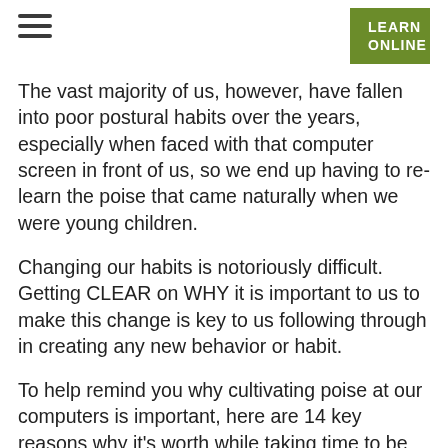≡  LEARN ONLINE
The vast majority of us, however, have fallen into poor postural habits over the years, especially when faced with that computer screen in front of us, so we end up having to re-learn the poise that came naturally when we were young children.
Changing our habits is notoriously difficult.  Getting CLEAR on WHY it is important to us to make this change is key to us following through in creating any new behavior or habit.
To help remind you why cultivating poise at our computers is important, here are 14 key reasons why it's worth while taking time to be present and make constructive changes in the way you sit, or stand, to